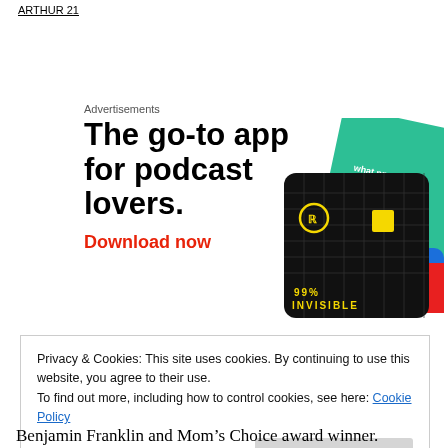ARTHUR 21
Advertisements
[Figure (illustration): Podcast app advertisement. Large bold text: 'The go-to app for podcast lovers.' with red 'Download now' CTA, and illustrated podcast app cards including '99% Invisible' on right side.]
Privacy & Cookies: This site uses cookies. By continuing to use this website, you agree to their use.
To find out more, including how to control cookies, see here: Cookie Policy
Close and accept
Benjamin Franklin and Mom’s Choice award winner.